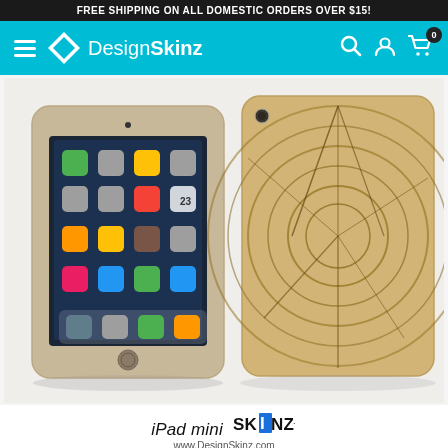FREE SHIPPING ON ALL DOMESTIC ORDERS OVER $15!
[Figure (logo): DesignSkinz navigation bar with hamburger menu, diamond logo, brand name, search, account, and cart icons]
[Figure (photo): iPad mini with wood grain / tree stump cross-section skin shown from front and back angles]
iPad mini SKINZ www.DesignSkinz.com